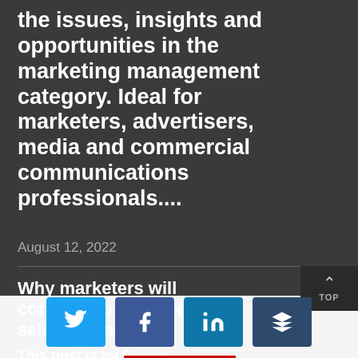the issues, insights and opportunities in the marketing management category. Ideal for marketers, advertisers, media and commercial communications professionals....
August 12, 2022
Why marketers will continue to use a pitch to select agencies
This post is by Darren
[Figure (infographic): Social sharing buttons: Twitter (blue), Facebook (blue), LinkedIn (blue), Buffer (dark blue), with a red underline bar]